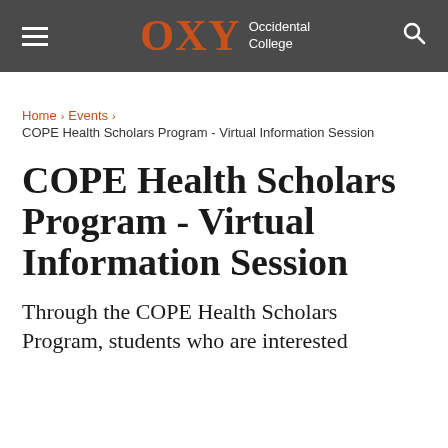OXY Occidental College
Home › Events › COPE Health Scholars Program - Virtual Information Session
COPE Health Scholars Program - Virtual Information Session
Through the COPE Health Scholars Program, students who are interested